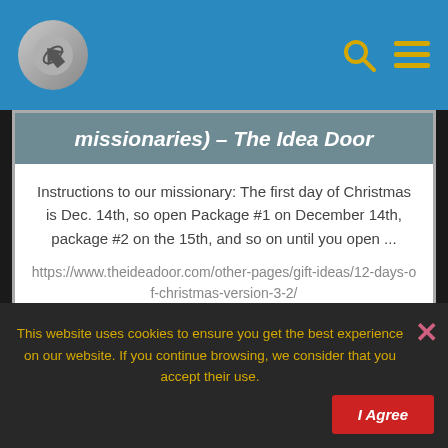missionaries) – The Idea Door
Instructions to our missionary: The first day of Christmas is Dec. 14th, so open Package #1 on December 14th, package #2 on the 15th, and so on until you open ...
https://www.theideadoor.com/other-pages/gift-ideas/12-days-of-christmas-version-3-2/
SHOW ME
This website uses cookies to ensure you get the best experience on our website. If you continue browsing, we consider that you accept their use.
I Agree